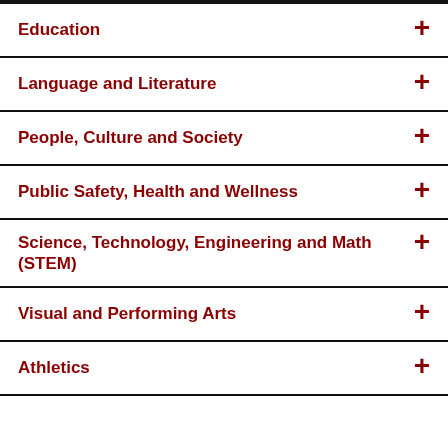Education
Language and Literature
People, Culture and Society
Public Safety, Health and Wellness
Science, Technology, Engineering and Math (STEM)
Visual and Performing Arts
Athletics